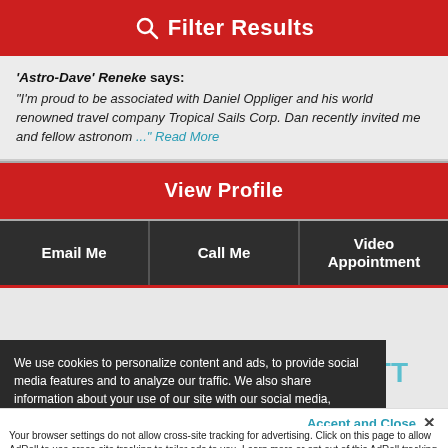Filter Results
'Astro-Dave' Reneke says: "I'm proud to be associated with Daniel Oppliger and his world renowned travel company Tropical Sails Corp. Dan recently invited me and fellow astronom ..." Read More
View Profile
Email Me | Call Me | Video Appointment
We use cookies to personalize content and ads, to provide social media features and to analyze our traffic. We also share information about your use of our site with our social media, advertising and analytic partners. View More
Accept and Close ✕
Your browser settings do not allow cross-site tracking for advertising. Click on this page to allow AdRoll to use cross-site tracking to tailor ads to you. Learn more or opt out of this AdRoll tracking by clicking here. This message only appears once.